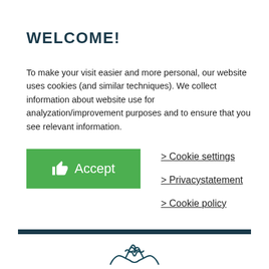WELCOME!
To make your visit easier and more personal, our website uses cookies (and similar techniques). We collect information about website use for analyzation/improvement purposes and to ensure that you see relevant information.
Accept (button)
> Cookie settings
> Privacystatement
> Cookie policy
[Figure (illustration): Horizontal dark navy bar separator]
[Figure (illustration): Handshake icon drawn in dark teal outline style]